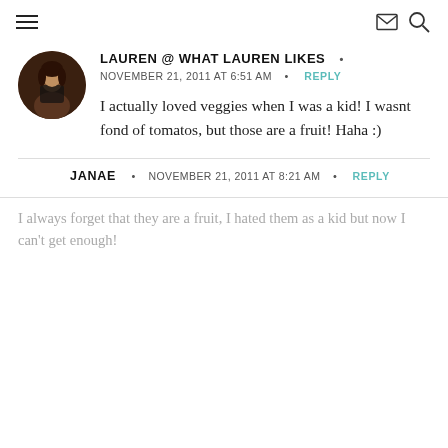navigation header with hamburger menu, envelope icon, and search icon
LAUREN @ WHAT LAUREN LIKES
NOVEMBER 21, 2011 AT 6:51 AM • REPLY
I actually loved veggies when I was a kid! I wasnt fond of tomatos, but those are a fruit! Haha :)
JANAE • NOVEMBER 21, 2011 AT 8:21 AM • REPLY
I always forget that they are a fruit, I hated them as a kid but now I can't get enough!